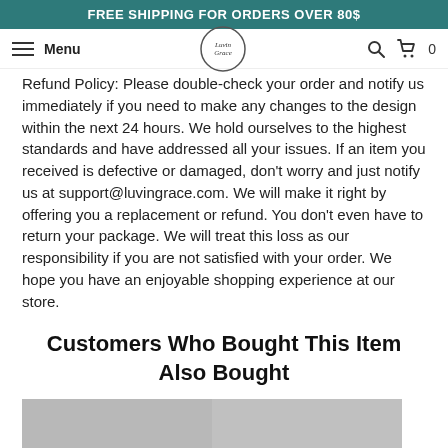FREE SHIPPING FOR ORDERS OVER 80$
Refund Policy: Please double-check your order and notify us immediately if you need to make any changes to the design within the next 24 hours. We hold ourselves to the highest standards and have addressed all your issues. If an item you received is defective or damaged, don't worry and just notify us at support@luvingrace.com. We will make it right by offering you a replacement or refund. You don't even have to return your package. We will treat this loss as our responsibility if you are not satisfied with your order. We hope you have an enjoyable shopping experience at our store.
Customers Who Bought This Item Also Bought
[Figure (photo): Two product thumbnail images at the bottom of the page]